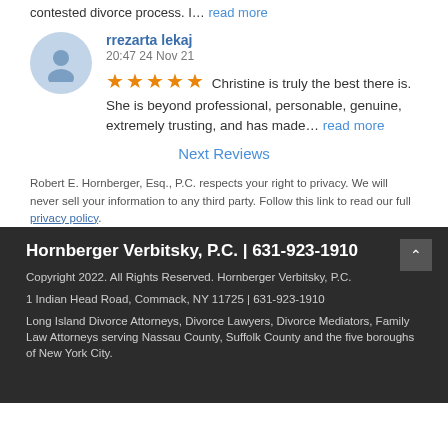contested divorce process. I... read more
rrezarta lekaj
20:47 24 Nov 21
★★★★★ Christine is truly the best there is. She is beyond professional, personable, genuine, extremely trusting, and has made... read more
Next Reviews
Robert E. Hornberger, Esq., P.C. respects your right to privacy. We will never sell your information to any third party. Follow this link to read our full privacy policy.
Hornberger Verbitsky, P.C. | 631-923-1910
Copyright 2022. All Rights Reserved. Hornberger Verbitsky, P.C.
1 Indian Head Road, Commack, NY 11725 | 631-923-1910
Long Island Divorce Attorneys, Divorce Lawyers, Divorce Mediators, Family Law Attorneys serving Nassau County, Suffolk County and the five boroughs of New York City.